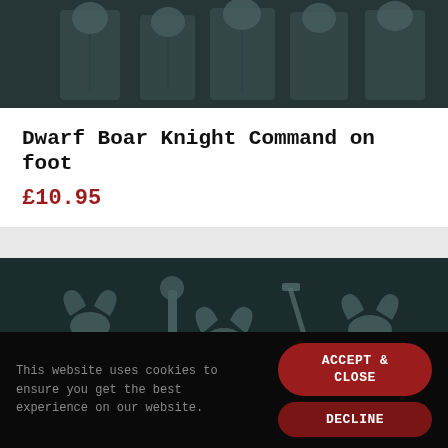[Figure (photo): Photo of grey miniature dwarf figurines on a dark teal/dark background, top portion of product image]
Dwarf Boar Knight Command on foot
£10.95
[Figure (photo): Photo of grey miniature parts and accessories (winged helmets, weapons, shields) on a dark teal background]
This website uses cookies to ensure you get the best experience on our website.
ACCEPT & CLOSE
DECLINE